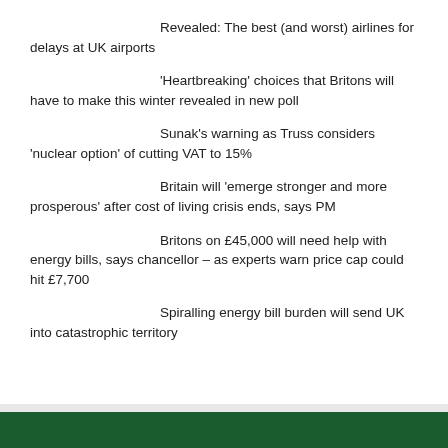Revealed: The best (and worst) airlines for delays at UK airports
‘Heartbreaking’ choices that Britons will have to make this winter revealed in new poll
Sunak’s warning as Truss considers ‘nuclear option’ of cutting VAT to 15%
Britain will ‘emerge stronger and more prosperous’ after cost of living crisis ends, says PM
Britons on £45,000 will need help with energy bills, says chancellor – as experts warn price cap could hit £7,700
Spiralling energy bill burden will send UK into catastrophic territory